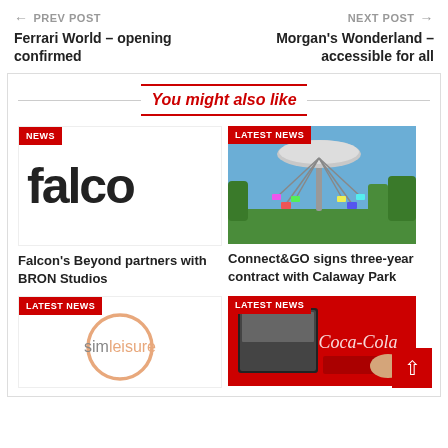← PREV POST | NEXT POST →
Ferrari World – opening confirmed
Morgan's Wonderland – accessible for all
You might also like
[Figure (logo): Falcon's Beyond / FALCO logo in dark text on white background, with NEWS badge]
Falcon's Beyond partners with BRON Studios
[Figure (photo): Swing carousel ride at Calaway Park against blue sky, with LATEST NEWS badge]
Connect&GO signs three-year contract with Calaway Park
[Figure (logo): Simleisure logo — circular orange ring with 'simleisure' text, LATEST NEWS badge]
[Figure (photo): Coca-Cola vending/recycling machine scene in red, LATEST NEWS badge]